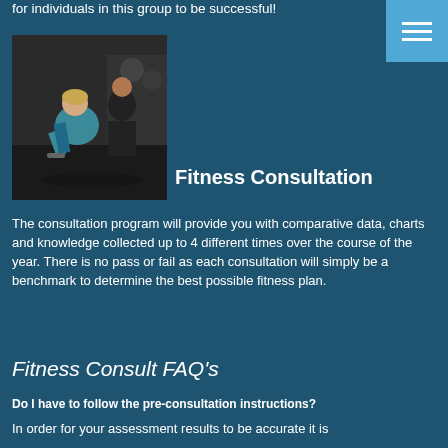for individuals in this group to be successful!
[Figure (photo): A woman lifting dumbbells with a personal trainer in a gym setting]
Fitness Consultation
The consultation program will provide you with comparative data, charts and knowledge collected up to 4 different times over the course of the year. There is no pass or fail as each consultation will simply be a benchmark to determine the best possible fitness plan.
Fitness Consult FAQ's
Do I have to follow the pre-consultation instructions?
In order for your assessment results to be accurate it is